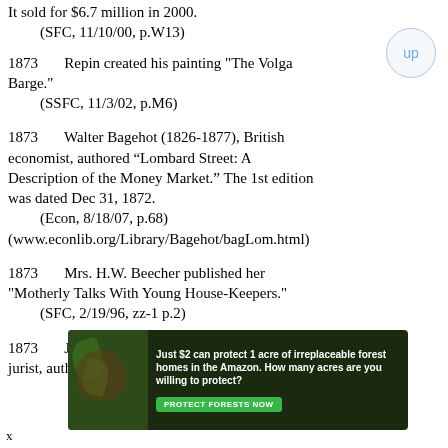It sold for $6.7 million in 2000.
    (SFC, 11/10/00, p.W13)
1873    Repin created his painting "The Volga Barge."
    (SSFC, 11/3/02, p.M6)
1873    Walter Bagehot (1826-1877), British economist, authored “Lombard Street: A Description of the Money Market.” The 1st edition was dated Dec 31, 1872.
    (Econ, 8/18/07, p.68)
(www.econlib.org/Library/Bagehot/bagLom.html)
1873    Mrs. H.W. Beecher published her "Motherly Talks With Young House-Keepers."
    (SFC, 2/19/96, zz-1 p.2)
1873    James Fitzjames Stephen, journalist and jurist, authored "Liberty, Equality
[Figure (infographic): Advertisement banner with dark green forest background and animal image. Text reads: 'Just $2 can protect 1 acre of irreplaceable forest homes in the Amazon. How many acres are you willing to protect?' with a green 'PROTECT FORESTS NOW' button.]
x